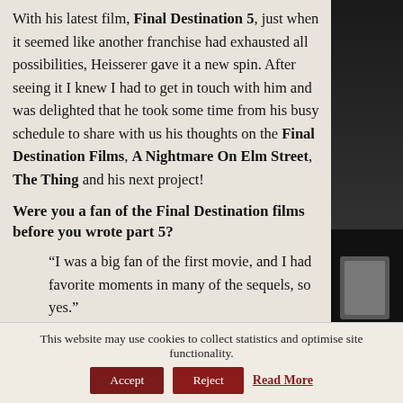With his latest film, Final Destination 5, just when it seemed like another franchise had exhausted all possibilities, Heisserer gave it a new spin. After seeing it I knew I had to get in touch with him and was delighted that he took some time from his busy schedule to share with us his thoughts on the Final Destination Films, A Nightmare On Elm Street, The Thing and his next project!
Were you a fan of the Final Destination films before you wrote part 5?
“I was a big fan of the first movie, and I had favorite moments in many of the sequels, so yes.”
What kind of ideas did you toy around with
[Figure (photo): Black and white photo of a person, partially visible on right side of page]
This website may use cookies to collect statistics and optimise site functionality.